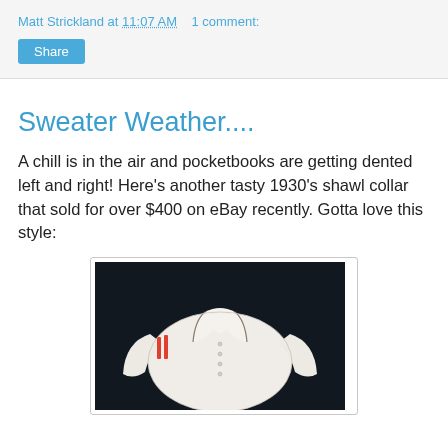Matt Strickland at 11:07 AM    1 comment:
Share
Sweater Weather....
A chill is in the air and pocketbooks are getting dented left and right! Here's another tasty 1930's shawl collar that sold for over $400 on eBay recently. Gotta love this style:
[Figure (photo): A white 1930s shawl collar sweater with red stripes on the left shoulder, displayed on a dark background]